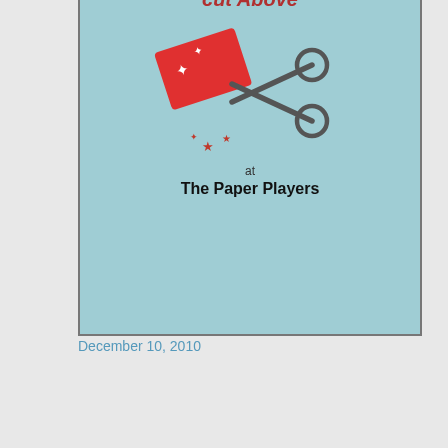[Figure (illustration): Badge for The Paper Players craft challenge featuring scissors, red stars, and text 'cut above at The Paper Players' on light blue background]
December 10, 2010
[Figure (illustration): Banner logo for Penny Black Saturday Challenge showing text 'Penny Black Saturday Challenge' with illustrated hedgehog characters and floral/snowflake decorations]
October 2, 2010
[Figure (other): Broken image placeholder]
April 14, 2010
May 5, 2010